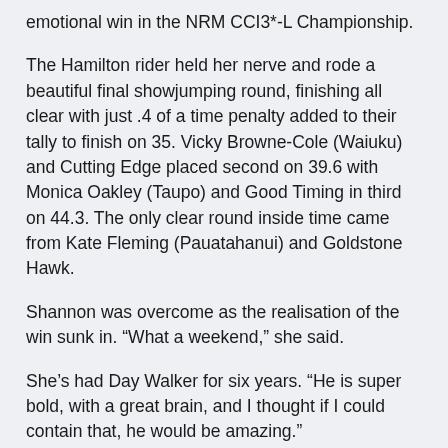emotional win in the NRM CCI3*-L Championship.
The Hamilton rider held her nerve and rode a beautiful final showjumping round, finishing all clear with just .4 of a time penalty added to their tally to finish on 35. Vicky Browne-Cole (Waiuku) and Cutting Edge placed second on 39.6 with Monica Oakley (Taupo) and Good Timing in third on 44.3. The only clear round inside time came from Kate Fleming (Pauatahanui) and Goldstone Hawk.
Shannon was overcome as the realisation of the win sunk in. “What a weekend,” she said.
She’s had Day Walker for six years. “He is super bold, with a great brain, and I thought if I could contain that, he would be amazing.”
History says she was bang on the money, but it hasn’t been plain sailing. Following their 4* run at